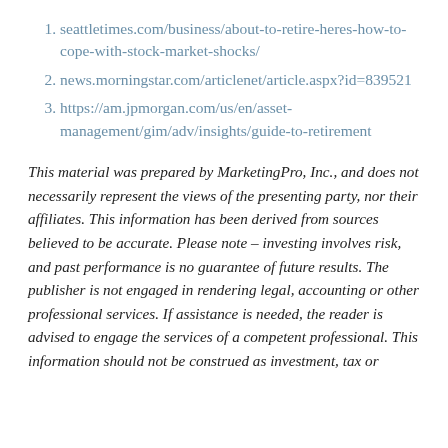seattletimes.com/business/about-to-retire-heres-how-to-cope-with-stock-market-shocks/
news.morningstar.com/articlenet/article.aspx?id=839521
https://am.jpmorgan.com/us/en/asset-management/gim/adv/insights/guide-to-retirement
This material was prepared by MarketingPro, Inc., and does not necessarily represent the views of the presenting party, nor their affiliates. This information has been derived from sources believed to be accurate. Please note – investing involves risk, and past performance is no guarantee of future results. The publisher is not engaged in rendering legal, accounting or other professional services. If assistance is needed, the reader is advised to engage the services of a competent professional. This information should not be construed as investment, tax or